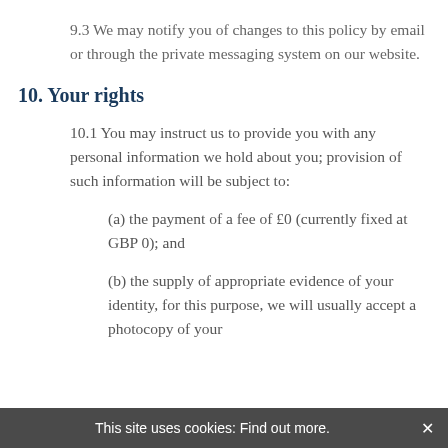9.3 We may notify you of changes to this policy by email or through the private messaging system on our website.
10. Your rights
10.1 You may instruct us to provide you with any personal information we hold about you; provision of such information will be subject to:
(a) the payment of a fee of £0 (currently fixed at GBP 0); and
(b) the supply of appropriate evidence of your identity, for this purpose, we will usually accept a photocopy of your
This site uses cookies: Find out more. ×